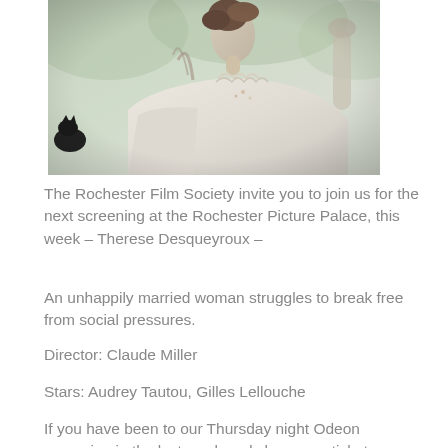[Figure (photo): A woman in period costume (cream embroidered blouse, upswept hair) seated outdoors, photographed in profile against a soft green blurred garden background. Black and white cat visible at left edge.]
The Rochester Film Society invite you to join us for the next screening at the Rochester Picture Palace, this week – Therese Desqueyroux –
An unhappily married woman struggles to break free from social pressures.
Director: Claude Miller
Stars: Audrey Tautou, Gilles Lellouche
If you have been to our Thursday night Odeon screening in the last week and show your ticket